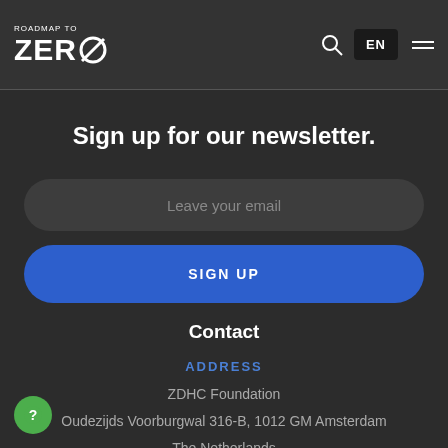ROADMAP TO ZERO
Sign up for our newsletter.
Leave your email
SIGN UP
Contact
ADDRESS
ZDHC Foundation
Oudezijds Voorburgwal 316-B, 1012 GM Amsterdam
The Netherlands
PRESS INQUIRIES: